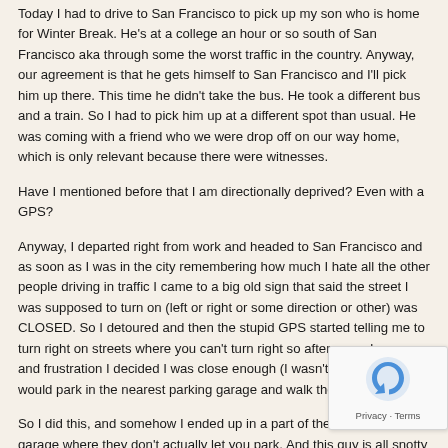Today I had to drive to San Francisco to pick up my son who is home for Winter Break. He's at a college an hour or so south of San Francisco aka through some the worst traffic in the country. Anyway, our agreement is that he gets himself to San Francisco and I'll pick him up there. This time he didn't take the bus. He took a different bus and a train. So I had to pick him up at a different spot than usual. He was coming with a friend who we were drop off on our way home, which is only relevant because there were witnesses.
Have I mentioned before that I am directionally deprived? Even with a GPS?
Anyway, I departed right from work and headed to San Francisco and as soon as I was in the city remembering how much I hate all the other people driving in traffic I came to a big old sign that said the street I was supposed to turn on (left or right or some direction or other) was CLOSED. So I detoured and then the stupid GPS started telling me to turn right on streets where you can't turn right so after some horror and frustration I decided I was close enough (I wasn't, actually) and I would park in the nearest parking garage and walk there to get them.
So I did this, and somehow I ended up in a part of the PARKING garage where they don't actually let you park. And this guy is all snotty with me about me trying to turn around and then he says "you have to go up"  So… right. I can't find any arrows pointing up so I decided fine, I will leave the parking garage and try to find the train station only you can't get out without paying and I wasn't allowed to park anywhere and anyway someone ended up voiding my ticket and I was back where I was twenty effing minutes before still with no idea how to find the damn train station.
That's right. I got lost in a parking garage.